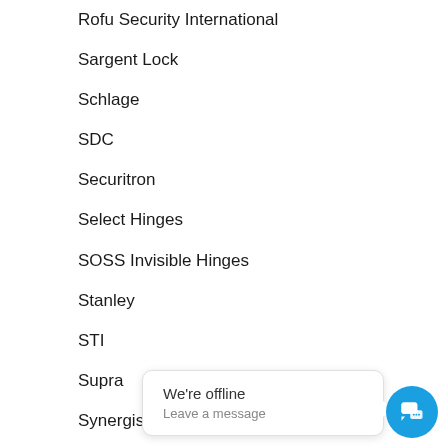Rofu Security International
Sargent Lock
Schlage
SDC
Securitron
Select Hinges
SOSS Invisible Hinges
Stanley
STI
Supra
Synergistics
TownSteel
Trimco
Trine Access T
We're offline
Leave a message